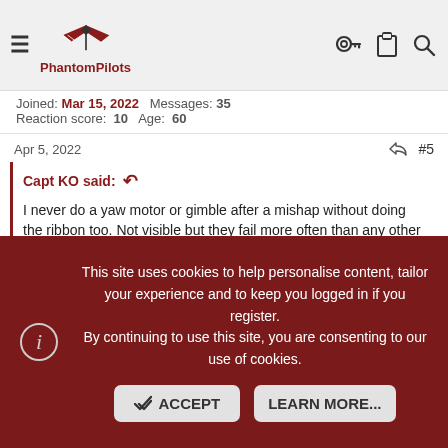PhantomPilots
Joined: Mar 15, 2022  Messages: 35  Reaction score: 10  Age: 60
Apr 5, 2022  #5
Capt KO said:
I never do a yaw motor or gimble after a mishap without doing the ribbon too. Not visible but they fail more often than any other part. What is happening to you is common. ONLY use DJI original replacement, 3rd party rarely work.
Thanks were do i get original ribbons, having problems finding the site. thanks
This site uses cookies to help personalise content, tailor your experience and to keep you logged in if you register. By continuing to use this site, you are consenting to our use of cookies.
ACCEPT
LEARN MORE...